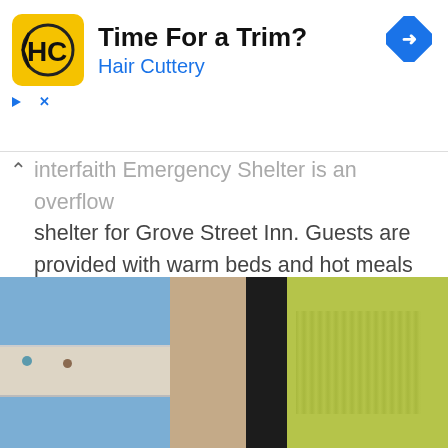[Figure (screenshot): Hair Cuttery advertisement banner with yellow logo showing HC initials, text 'Time For a Trim?' and 'Hair Cuttery' in blue, blue diamond arrow icon top right, small play and close controls bottom left]
interfaith Emergency Shelter is an overflow shelter for Grove Street Inn. Guests are provided with warm beds and hot meals from November through April. The 20-bed site is located in the basement o [...]
See more details
Added Dec 15, 2017
[Figure (photo): Blurry close-up photo showing a person in a blue shirt with white/cream lace trim belt area, a dark column or pole in the center, and a person in yellow-green on the right side, with beige/tan background]